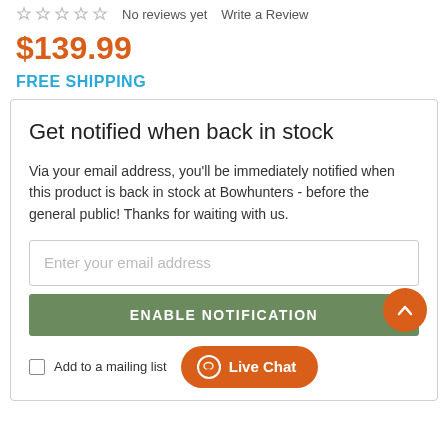No reviews yet   Write a Review
$139.99
FREE SHIPPING
Get notified when back in stock
Via your email address, you'll be immediately notified when this product is back in stock at Bowhunters - before the general public! Thanks for waiting with us.
Enter your email address
ENABLE NOTIFICATION
Add to a mailing list
Live Chat